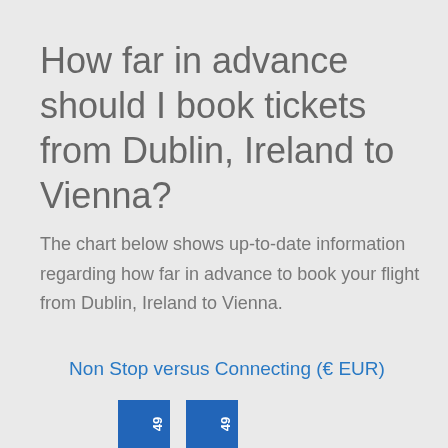How far in advance should I book tickets from Dublin, Ireland to Vienna?
The chart below shows up-to-date information regarding how far in advance to book your flight from Dublin, Ireland to Vienna.
Non Stop versus Connecting (€ EUR)
[Figure (bar-chart): Partial bar chart visible at bottom of page showing bars with value 49 visible]